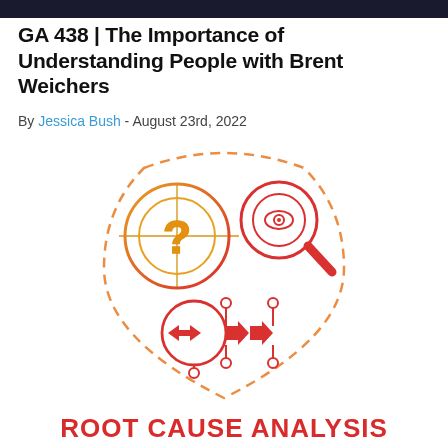GA 438 | The Importance of Understanding People with Brent Weichers
By Jessica Bush - August 23rd, 2022
[Figure (illustration): Root cause analysis concept illustration: a shield/heart shaped dashed outline containing three icons — a yellow-orange circle with a question mark and crosshair target lines, a red magnifying glass with an eye inside, and a red circle with forward arrows (process flow) connected by a flowchart diagram with nodes. The icons use a gradient from orange/yellow at top-left to red at bottom-right.]
ROOT CAUSE ANALYSIS